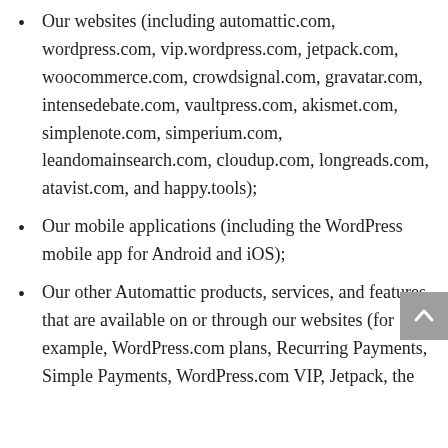Our websites (including automattic.com, wordpress.com, vip.wordpress.com, jetpack.com, woocommerce.com, crowdsignal.com, gravatar.com, intensedebate.com, vaultpress.com, akismet.com, simplenote.com, simperium.com, leandomainsearch.com, cloudup.com, longreads.com, atavist.com, and happy.tools);
Our mobile applications (including the WordPress mobile app for Android and iOS);
Our other Automattic products, services, and features that are available on or through our websites (for example, WordPress.com plans, Recurring Payments, Simple Payments, WordPress.com VIP, Jetpack, the